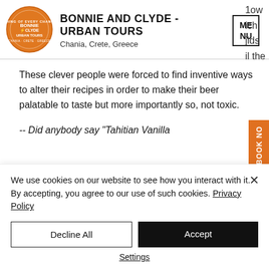[Figure (logo): Bonnie and Clyde Urban Tours circular logo in orange with a bird illustration]
BONNIE AND CLYDE - URBAN TOURS
Chania, Crete, Greece
[Figure (other): Menu icon box with ME / NU text]
These clever people were forced to find inventive ways to alter their recipes in order to make their beer palatable to taste but more importantly so, not toxic.
-- Did anybody say "Tahitian Vanilla
[Figure (other): Orange vertical Book Now button on right side]
We use cookies on our website to see how you interact with it. By accepting, you agree to our use of such cookies. Privacy Policy
Decline All
Accept
Settings